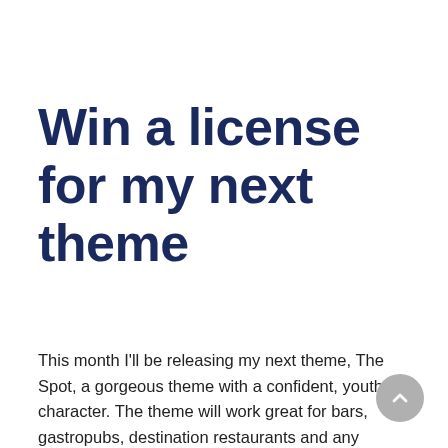Win a license for my next theme
This month I'll be releasing my next theme, The Spot, a gorgeous theme with a confident, youthful character. The theme will work great for bars, gastropubs, destination restaurants and any venues with an active vibe.